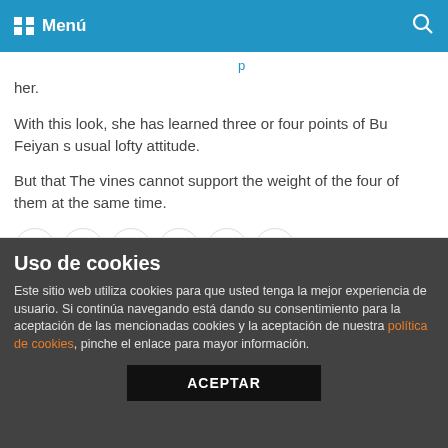Menú
her.
With this look, she has learned three or four points of Bu Feiyan s usual lofty attitude.
But that The vines cannot support the weight of the four of them at the same time.
[Figure (infographic): Social share icons row: Facebook, Twitter, Reddit, Pinterest, LinkedIn, Email]
Publicado en Sin categoría.
Uso de cookies
Este sitio web utiliza cookies para que usted tenga la mejor experiencia de usuario. Si continúa navegando está dando su consentimiento para la aceptación de las mencionadas cookies y la aceptación de nuestra política de cookies, pinche el enlace para mayor información.
ACEPTAR